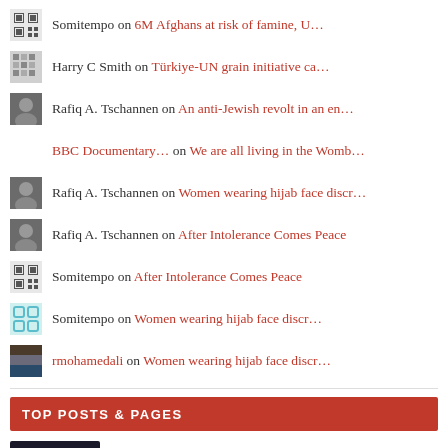Somitempo on 6M Afghans at risk of famine, U...
Harry C Smith on Türkiye-UN grain initiative ca...
Rafiq A. Tschannen on An anti-Jewish revolt in an en...
BBC Documentary... on We are all living in the Womb...
Rafiq A. Tschannen on Women wearing hijab face discr...
Rafiq A. Tschannen on After Intolerance Comes Peace
Somitempo on After Intolerance Comes Peace
Somitempo on Women wearing hijab face discr...
rmohamedali on Women wearing hijab face discr...
TOP POSTS & PAGES
What Does it mean to Dream of a Snake in Islam - Islamic Dream Interpretation